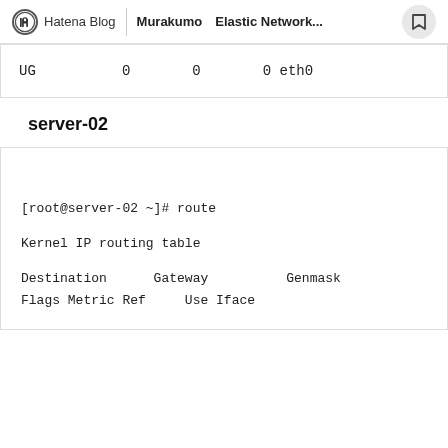Hatena Blog | Murakumo　Elastic Network...
| UG | 0 | 0 | 0 eth0 |
server-02
[root@server-02 ~]# route

Kernel IP routing table

Destination      Gateway          Genmask
Flags Metric Ref     Use Iface